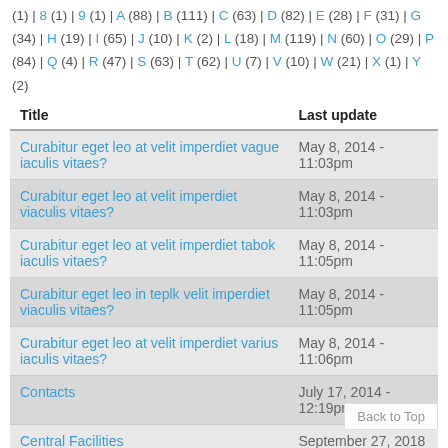(1) | 8 (1) | 9 (1) | A (88) | B (111) | C (63) | D (82) | E (28) | F (31) | G (34) | H (19) | I (65) | J (10) | K (2) | L (18) | M (119) | N (60) | O (29) | P (84) | Q (4) | R (47) | S (63) | T (62) | U (7) | V (10) | W (21) | X (1) | Y (2)
| Title | Last update |
| --- | --- |
| Curabitur eget leo at velit imperdiet vague iaculis vitaes? | May 8, 2014 - 11:03pm |
| Curabitur eget leo at velit imperdiet viaculis vitaes? | May 8, 2014 - 11:03pm |
| Curabitur eget leo at velit imperdiet tabok iaculis vitaes? | May 8, 2014 - 11:05pm |
| Curabitur eget leo in teplk velit imperdiet viaculis vitaes? | May 8, 2014 - 11:05pm |
| Curabitur eget leo at velit imperdiet varius iaculis vitaes? | May 8, 2014 - 11:06pm |
| Contacts | July 17, 2014 - 12:19pm |
| Central Facilities | September 27, 2018 - 3:57pm |
| Campus Details | July 26, 2018 - 10:15am |